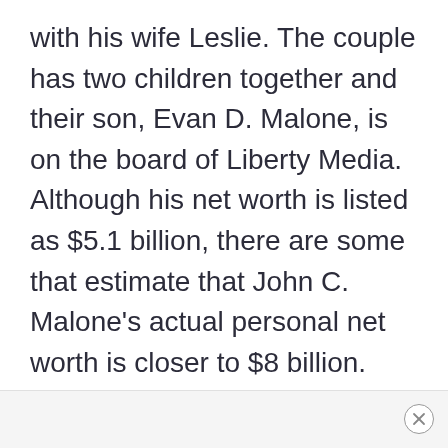with his wife Leslie. The couple has two children together and their son, Evan D. Malone, is on the board of Liberty Media. Although his net worth is listed as $5.1 billion, there are some that estimate that John C. Malone's actual personal net worth is closer to $8 billion.